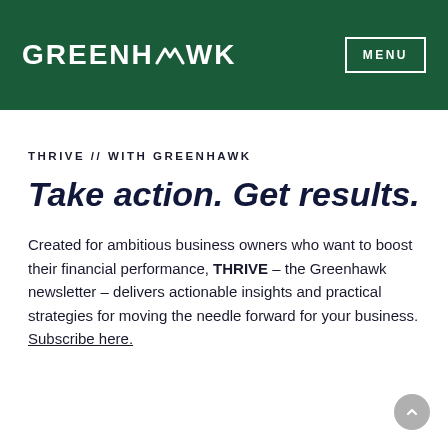[Figure (logo): Greenhawk logo in white text on dark green header bar with MENU button]
THRIVE // WITH GREENHAWK
Take action. Get results.
Created for ambitious business owners who want to boost their financial performance, THRIVE – the Greenhawk newsletter – delivers actionable insights and practical strategies for moving the needle forward for your business. Subscribe here.